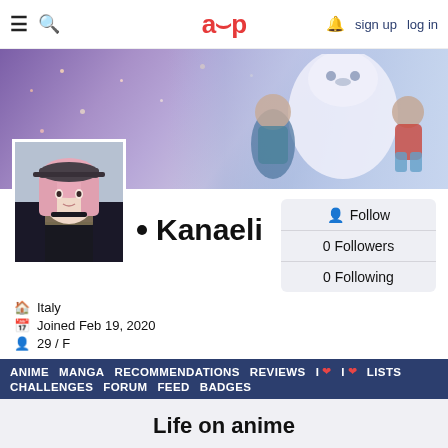aup — sign up  log in
[Figure (illustration): Banner image with purple/lavender gradient background with sparkles and cartoon animated characters on the right side including a large white fluffy creature, a boy in a teal shirt, and a girl in a red shirt]
[Figure (photo): Profile avatar: anime-style illustration of a woman with long pink hair wearing a cap and a sparkly bra top with a dark jacket]
Kanaeli
Follow
0 Followers
0 Following
Italy
Joined Feb 19, 2020
29 / F
ANIME  MANGA  RECOMMENDATIONS  REVIEWS  I ❤  I ❤  LISTS  CHALLENGES  FORUM  FEED  BADGES
Life on anime